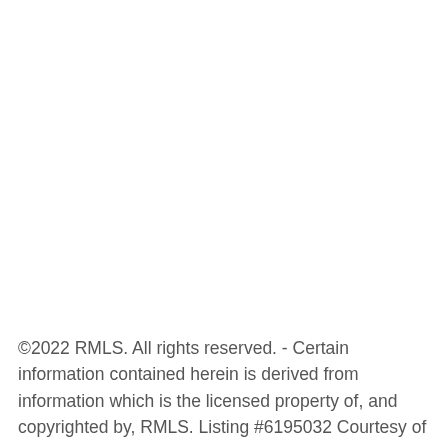©2022 RMLS. All rights reserved. - Certain information contained herein is derived from information which is the licensed property of, and copyrighted by, RMLS. Listing #6195032 Courtesy of